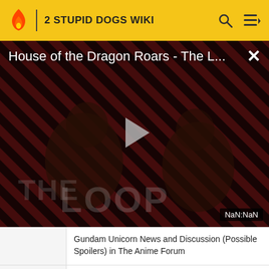2 STUPID DOGS WIKI
[Figure (screenshot): Video player showing 'House of the Dragon Roars - The L...' with striped dark red/black background, two figures visible, play button in center, THE LOOP text overlay, NaN:NaN duration badge, close X button]
Gundam Unicorn News and Discussion (Possible Spoilers) in The Anime Forum
Toon Zone Talkback - "Looney Tunes" Bugs & Daffy DVDs Coming in Retro: Classic Cartoons
Greatest Episode Ever! in Fun &amp; Games